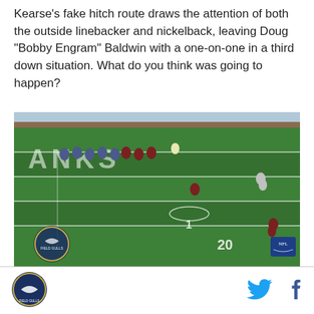Kearse's fake hitch route draws the attention of both the outside linebacker and nickelback, leaving Doug "Bobby Engram" Baldwin with a one-on-one in a third down situation. What do you think was going to happen?
[Figure (photo): American football game still showing players on a green field with yard line markings. Team in blue/grey (Seahawks) versus team in dark red/blue (Texans). NFL and Field Gulls watermarks visible.]
Field Gulls logo | Twitter icon | Facebook icon